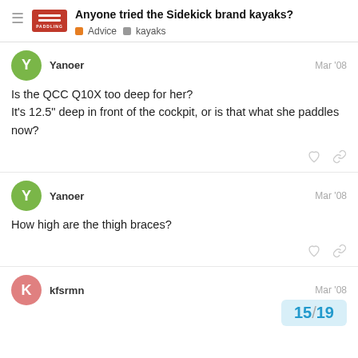Anyone tried the Sidekick brand kayaks? | Advice | kayaks
Yanoer
Mar '08
Is the QCC Q10X too deep for her?
It's 12.5" deep in front of the cockpit, or is that what she paddles now?
Yanoer
Mar '08
How high are the thigh braces?
kfsrmn
Mar '08
15 / 19